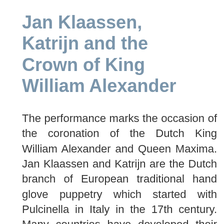Jan Klaassen, Katrijn and the Crown of King William Alexander
The performance marks the occasion of the coronation of the Dutch King William Alexander and Queen Maxima. Jan Klaassen and Katrijn are the Dutch branch of European traditional hand glove puppetry which started with Pulcinella in Italy in the 17th century. Many countries have developed their own traditions, such as Punch & Judy in the UK, Polichinelle in France, Kasperl in Germany, Petroucka in Russia and Don Roberto in Portugal.